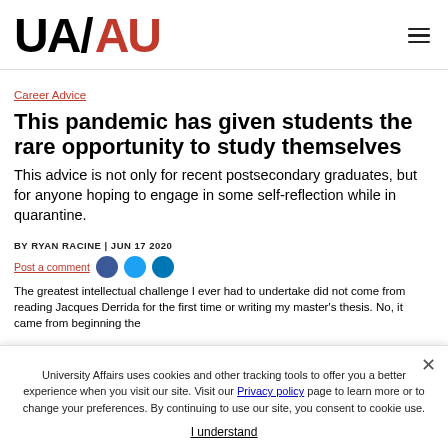UA/AU logo and navigation
Career Advice
This pandemic has given students the rare opportunity to study themselves
This advice is not only for recent postsecondary graduates, but for anyone hoping to engage in some self-reflection while in quarantine.
BY RYAN RACINE | JUN 17 2020
Post a comment
The greatest intellectual challenge I ever had to undertake did not come from reading Jacques Derrida for the first time or writing my master's thesis. No, it came from beginning the
University Affairs uses cookies and other tracking tools to offer you a better experience when you visit our site. Visit our Privacy policy page to learn more or to change your preferences. By continuing to use our site, you consent to cookie use.
I understand